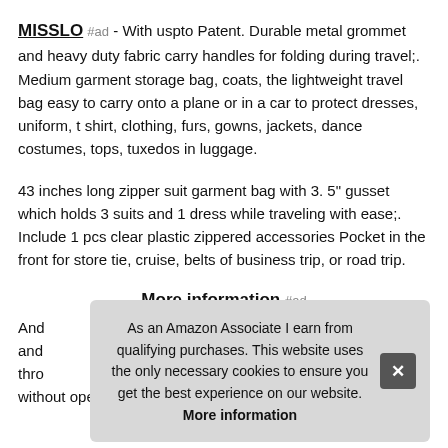MISSLO #ad - With uspto Patent. Durable metal grommet and heavy duty fabric carry handles for folding during travel;. Medium garment storage bag, coats, the lightweight travel bag easy to carry onto a plane or in a car to protect dresses, uniform, t shirt, clothing, furs, gowns, jackets, dance costumes, tops, tuxedos in luggage.
43 inches long zipper suit garment bag with 3. 5" gusset which holds 3 suits and 1 dress while traveling with ease;. Include 1 pcs clear plastic zippered accessories Pocket in the front for store tie, cruise, belts of business trip, or road trip.
More information #ad
And and thro without opening the dress bag;. A hole in the top of men suit
As an Amazon Associate I earn from qualifying purchases. This website uses the only necessary cookies to ensure you get the best experience on our website. More information